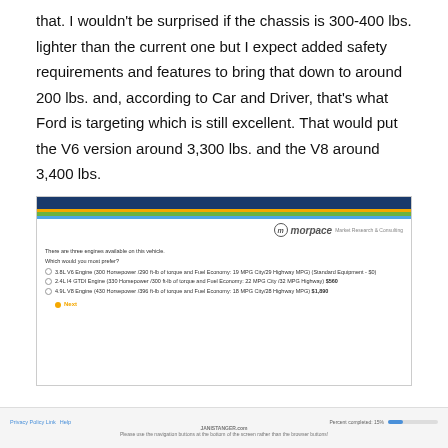that. I wouldn't be surprised if the chassis is 300-400 lbs. lighter than the current one but I expect added safety requirements and features to bring that down to around 200 lbs. and, according to Car and Driver, that's what Ford is targeting which is still excellent. That would put the V6 version around 3,300 lbs. and the V8 around 3,400 lbs.
[Figure (screenshot): Screenshot of a Morpace Market Research & Consulting survey page asking 'There are three engines available on this vehicle. Which would you most prefer?' with three radio button options: 3.8L V6 Engine (300 Horsepower /290 ft-lb of torque and Fuel Economy: 19 MPG City/29 Highway MPG) (Standard Equipment - $0), 2.4L I4 GTDI Engine (330 Horsepower /300 ft-lb of torque and Fuel Economy: 22 MPG City /32 MPG Highway) $560, 4.9L V8 Engine (430 Horsepower /396 ft-lb of torque and Fuel Economy: 18 MPG City/28 Highway MPG) $1,890. A 'Next' button is shown. Page footer shows Privacy Policy Link, Help, JANISTANGER.com, and a progress bar showing 15% complete.]
Privacy Policy Link   Help   JANISTANGER.com   Please use the navigation buttons at the bottom of the screen rather than the browser buttons!   Percent completed: 15%